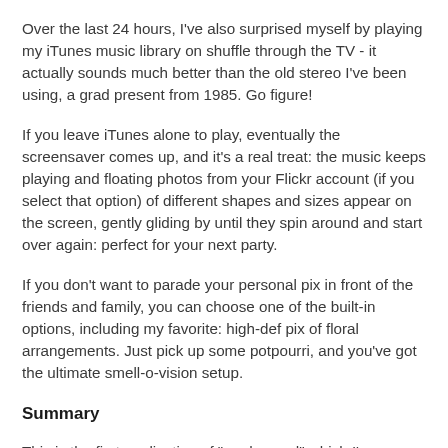Over the last 24 hours, I've also surprised myself by playing my iTunes music library on shuffle through the TV - it actually sounds much better than the old stereo I've been using, a grad present from 1985. Go figure!
If you leave iTunes alone to play, eventually the screensaver comes up, and it's a real treat: the music keeps playing and floating photos from your Flickr account (if you select that option) of different shapes and sizes appear on the screen, gently gliding by until they spin around and start over again: perfect for your next party.
If you don't want to parade your personal pix in front of the friends and family, you can choose one of the built-in options, including my favorite: high-def pix of floral arrangements. Just pick up some potpourri, and you've got the ultimate smell-o-vision setup.
Summary
This is the first application of "on demand" which I've seen that makes it seem like a much more realistic and cost-